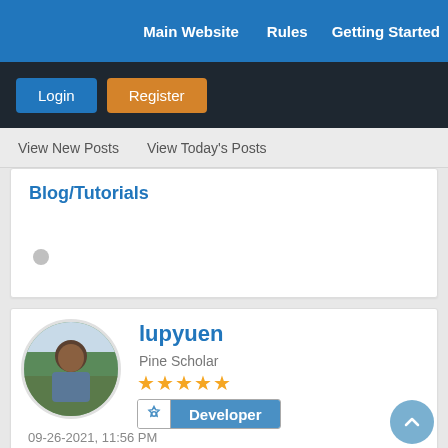Main Website   Rules   Getting Started
Login   Register
View New Posts   View Today's Posts
Blog/Tutorials
lupyuen
Pine Scholar
★★★★★
Developer
09-26-2021, 11:56 PM